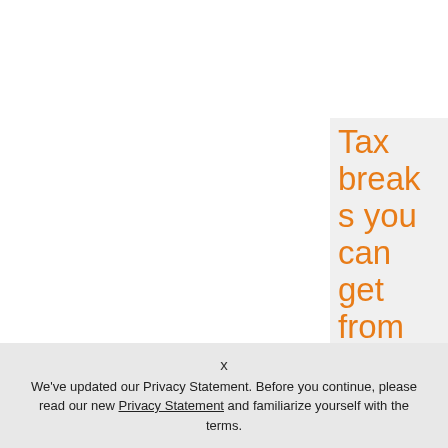Tax breaks you can get from Uncle
x
We've updated our Privacy Statement. Before you continue, please read our new Privacy Statement and familiarize yourself with the terms.